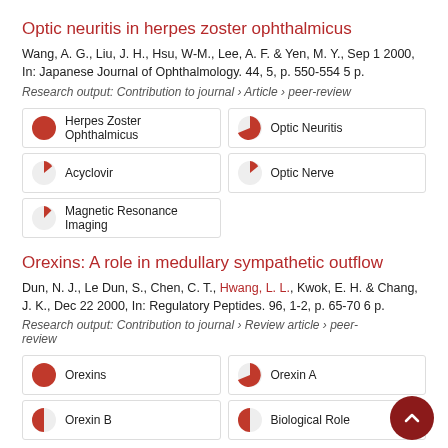Optic neuritis in herpes zoster ophthalmicus
Wang, A. G., Liu, J. H., Hsu, W-M., Lee, A. F. & Yen, M. Y., Sep 1 2000, In: Japanese Journal of Ophthalmology. 44, 5, p. 550-554 5 p.
Research output: Contribution to journal › Article › peer-review
[Figure (infographic): Five keyword badges in a 2-column grid with pie-chart percentage icons: Herpes Zoster Ophthalmicus (100%), Optic Neuritis (75%), Acyclovir (20%), Optic Nerve (20%), Magnetic Resonance Imaging (18%)]
Orexins: A role in medullary sympathetic outflow
Dun, N. J., Le Dun, S., Chen, C. T., Hwang, L. L., Kwok, E. H. & Chang, J. K., Dec 22 2000, In: Regulatory Peptides. 96, 1-2, p. 65-70 6 p.
Research output: Contribution to journal › Review article › peer-review
[Figure (infographic): Four keyword badges in a 2-column grid with pie-chart percentage icons: Orexins (100%), Orexin A (75%), Orexin B (50%), Biological Role (50%)]